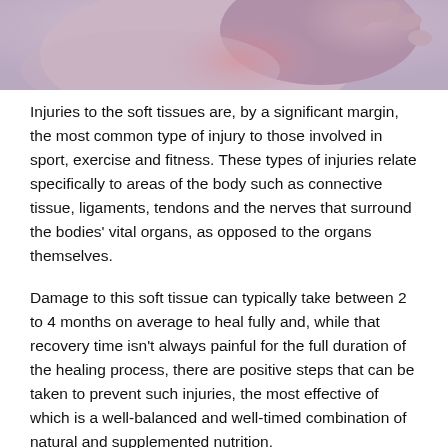[Figure (photo): Close-up photo of a person holding or touching their lower back area, suggesting pain or injury, with pink/red tones indicating the affected area. Partially visible at top of page.]
Injuries to the soft tissues are, by a significant margin, the most common type of injury to those involved in sport, exercise and fitness. These types of injuries relate specifically to areas of the body such as connective tissue, ligaments, tendons and the nerves that surround the bodies' vital organs, as opposed to the organs themselves.
Damage to this soft tissue can typically take between 2 to 4 months on average to heal fully and, while that recovery time isn't always painful for the full duration of the healing process, there are positive steps that can be taken to prevent such injuries, the most effective of which is a well-balanced and well-timed combination of natural and supplemented nutrition.
NATURAL FOOD SOURCES